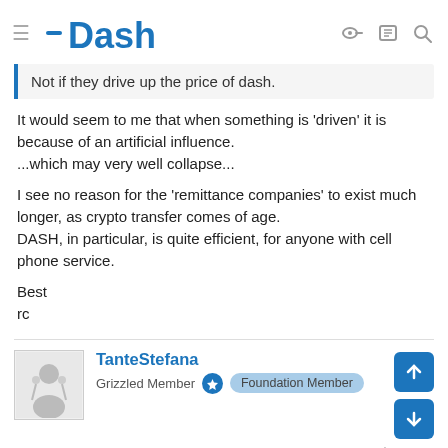Dash
Not if they drive up the price of dash.
It would seem to me that when something is 'driven' it is because of an artificial influence.
...which may very well collapse...

I see no reason for the 'remittance companies' to exist much longer, as crypto transfer comes of age.
DASH, in particular, is quite efficient, for anyone with cell phone service.

Best
rc
TanteStefana
Grizzled Member  Foundation Member
Jun 30, 2016  #28